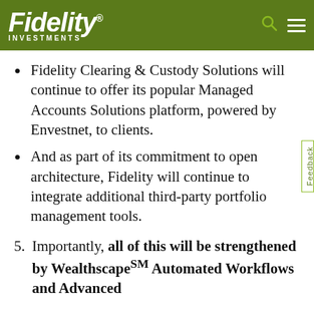Fidelity Investments
Fidelity Clearing & Custody Solutions will continue to offer its popular Managed Accounts Solutions platform, powered by Envestnet, to clients.
And as part of its commitment to open architecture, Fidelity will continue to integrate additional third-party portfolio management tools.
5. Importantly, all of this will be strengthened by WealthscapeSM Automated Workflows and Advanced